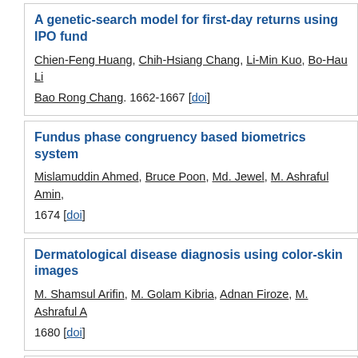A genetic-search model for first-day returns using IPO fund
Chien-Feng Huang, Chih-Hsiang Chang, Li-Min Kuo, Bo-Hau Li, Bao Rong Chang. 1662-1667 [doi]
Fundus phase congruency based biometrics system
Mislamuddin Ahmed, Bruce Poon, Md. Jewel, M. Ashraful Amin,
1674 [doi]
Dermatological disease diagnosis using color-skin images
M. Shamsul Arifin, M. Golam Kibria, Adnan Firoze, M. Ashraful A
1680 [doi]
A study of appling BPNN to robot speech interface
Wan-Chen Huang. 1681-1685 [doi]
Detecting emotion model in e-learning system
Guey-Shya Chen, Min-Feng Lee. 1686-1691 [doi]